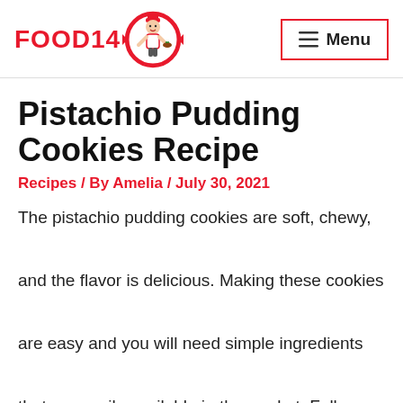FOOD14 [logo] Menu
Pistachio Pudding Cookies Recipe
Recipes / By Amelia / July 30, 2021
The pistachio pudding cookies are soft, chewy, and the flavor is delicious. Making these cookies are easy and you will need simple ingredients that are easily available in the market. Follow the instructions given in the recipe to make the